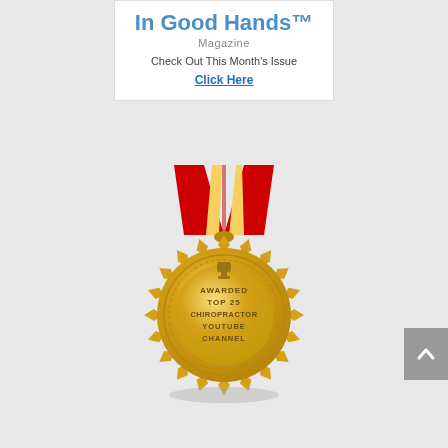[Figure (other): In Good Hands Magazine banner with title, subtitle 'Magazine', text 'Check Out This Month's Issue' and blue underlined link 'Click Here']
[Figure (illustration): Gold medal with red and gold ribbon/lanyard, inscribed 'AWARDED TOP 25 CHIROPRACTOR YOUTUBE CHANNEL' with a trophy icon at top]
[Figure (other): Gray scroll-to-top button with upward chevron arrow in bottom right corner]